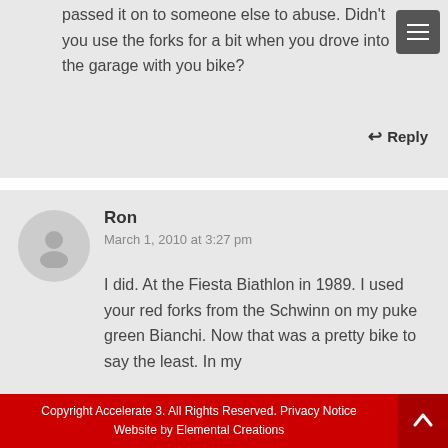passed it on to someone else to abuse. Didn't you use the forks for a bit when you drove into the garage with you bike?
↩ Reply
Ron
March 1, 2010 at 3:27 pm
I did. At the Fiesta Biathlon in 1989. I used your red forks from the Schwinn on my puke green Bianchi. Now that was a pretty bike to say the least. In my
Copyright Accelerate 3. All Rights Reserved. Privacy Notice Website by Elemental Creations